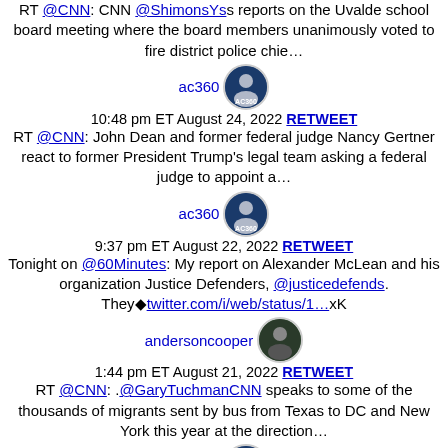RT @CNN: CNN @ShimonsYs reports on the Uvalde school board meeting where the board members unanimously voted to fire district police chie…
ac360
10:48 pm ET August 24, 2022 RETWEET
RT @CNN: John Dean and former federal judge Nancy Gertner react to former President Trump's legal team asking a federal judge to appoint a…
ac360
9:37 pm ET August 22, 2022 RETWEET
Tonight on @60Minutes: My report on Alexander McLean and his organization Justice Defenders, @justicedefends. They◆twitter.com/i/web/status/1…xK
andersoncooper
1:44 pm ET August 21, 2022 RETWEET
RT @CNN: .@GaryTuchmanCNN speaks to some of the thousands of migrants sent by bus from Texas to DC and New York this year at the direction…
ac360
10:23 pm ET August 19, 2022 RETWEET
RT @CNN: "Where do they find these people?": CNN's